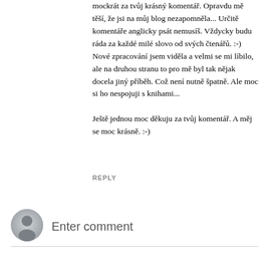mockrát za tvůj krásný komentář. Opravdu mě těší, že jsi na můj blog nezapomněla... Určitě komentáře anglicky psát nemusíš. Vždycky budu ráda za každé milé slovo od svých čtenářů. :-) Nové zpracování jsem viděla a velmi se mi líbilo, ale na druhou stranu to pro mě byl tak nějak docela jiný příběh. Což není nutně špatně. Ale moc si ho nespojuji s knihami...

Ještě jednou moc děkuju za tvůj komentář. A měj se moc krásně. :-)
REPLY
[Figure (illustration): Generic grey avatar icon of a person silhouette, circular shape]
Enter comment